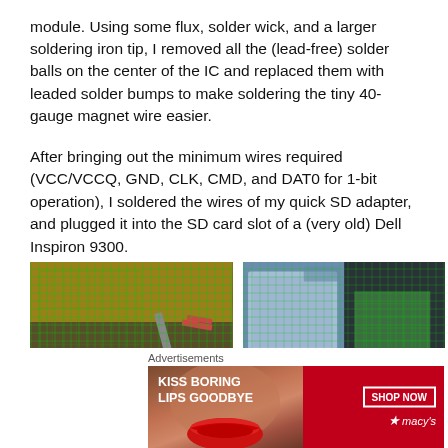module. Using some flux, solder wick, and a larger soldering iron tip, I removed all the (lead-free) solder balls on the center of the IC and replaced them with leaded solder bumps to make soldering the tiny 40-gauge magnet wire easier.
After bringing out the minimum wires required (VCC/VCCQ, GND, CLK, CMD, and DAT0 for 1-bit operation), I soldered the wires of my quick SD adapter, and plugged it into the SD card slot of a (very old) Dell Inspiron 9300.
[Figure (photo): Two side-by-side photos showing an eMMC module with green circuit board grid pattern and soldering work on a workbench with tools visible]
Advertisements
[Figure (photo): Advertisement banner for Macy's cosmetics showing a woman's face with red lips and the text 'KISS BORING LIPS GOODBYE' with a 'SHOP NOW' button and Macy's star logo]